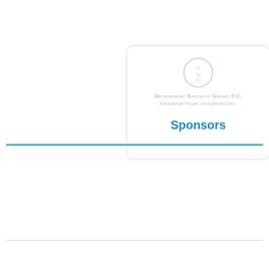[Figure (logo): Orthopaedic Specialty Group P.C. sponsor card with circular logo, organization name and tagline, and the word Sponsors in blue]
Sponsors